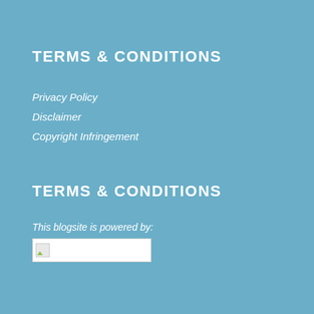TERMS & CONDITIONS
Privacy Policy
Disclaimer
Copyright Infringement
TERMS & CONDITIONS
This blogsite is powered by:
[Figure (other): Broken image placeholder showing a small image icon with a white background rectangle]